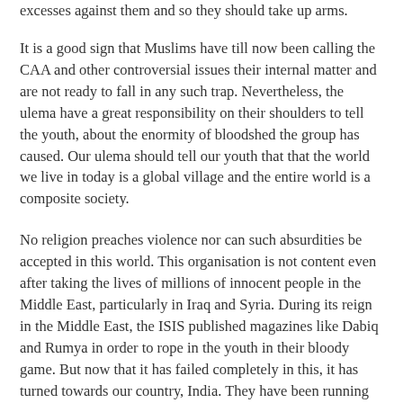excesses against them and so they should take up arms.
It is a good sign that Muslims have till now been calling the CAA and other controversial issues their internal matter and are not ready to fall in any such trap. Nevertheless, the ulema have a great responsibility on their shoulders to tell the youth, about the enormity of bloodshed the group has caused. Our ulema should tell our youth that that the world we live in today is a global village and the entire world is a composite society.
No religion preaches violence nor can such absurdities be accepted in this world. This organisation is not content even after taking the lives of millions of innocent people in the Middle East, particularly in Iraq and Syria. During its reign in the Middle East, the ISIS published magazines like Dabiq and Rumya in order to rope in the youth in their bloody game. But now that it has failed completely in this, it has turned towards our country, India. They have been running regular propaganda to provoke the peace-loving